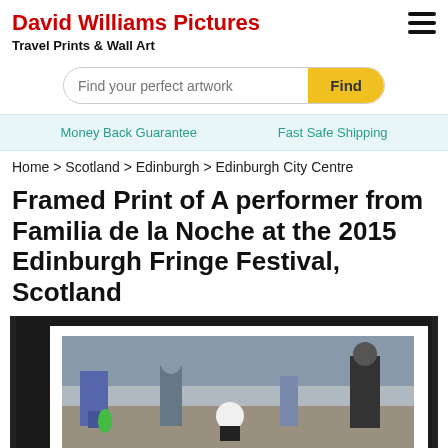David Williams Pictures
Travel Prints & Wall Art
Find your perfect artwork Find
Money Back Guarantee   Fast Safe Shipping
Home > Scotland > Edinburgh > Edinburgh City Centre
Framed Print of A performer from Familia de la Noche at the 2015 Edinburgh Fringe Festival, Scotland
[Figure (photo): Framed print product image showing a performer from Familia de la Noche at the 2015 Edinburgh Fringe Festival, Scotland. The framed photograph shows street performers and a crowd on a city street.]